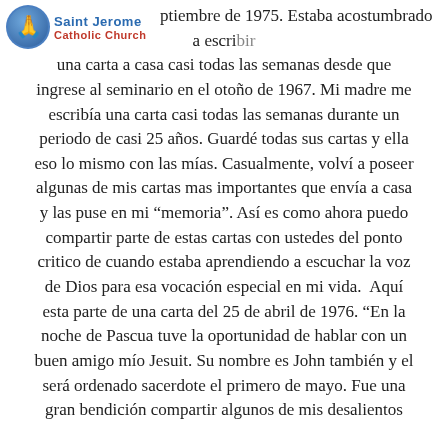Saint Jerome Catholic Church
ptiembre de 1975. Estaba acostumbrado a escribir una carta a casa casi todas las semanas desde que ingrese al seminario en el otoño de 1967. Mi madre me escribía una carta casi todas las semanas durante un periodo de casi 25 años. Guardé todas sus cartas y ella eso lo mismo con las mías. Casualmente, volví a poseer algunas de mis cartas mas importantes que envía a casa y las puse en mi “memoria”. Así es como ahora puedo compartir parte de estas cartas con ustedes del ponto critico de cuando estaba aprendiendo a escuchar la voz de Dios para esa vocación especial en mi vida. Aquí esta parte de una carta del 25 de abril de 1976. “En la noche de Pascua tuve la oportunidad de hablar con un buen amigo mío Jesuit. Su nombre es John también y el será ordenado sacerdote el primero de mayo. Fue una gran bendición compartir algunos de mis desalientos